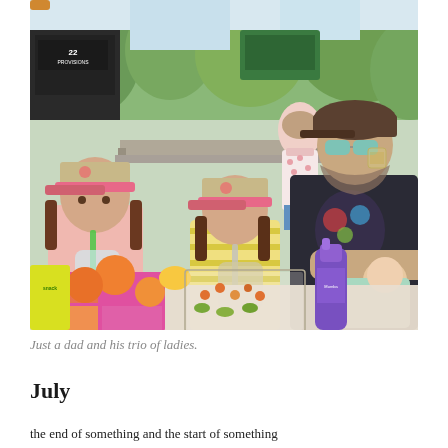[Figure (photo): A outdoor scene at what appears to be a farmers market or food truck event. A man wearing a dark t-shirt, baseball cap, and mirrored sunglasses holds a baby while drinking from a glass. Two young girls wearing matching tan and pink baseball caps sit at a picnic table drinking beverages through straws. On the table are colorful bento-style lunch boxes with oranges and snacks, a purple water bottle, and other food items. In the background are more people, picnic tables, trees, and a food truck labeled '22 PROVISIONS'.]
Just a dad and his trio of ladies.
July
the end of something and the start of something